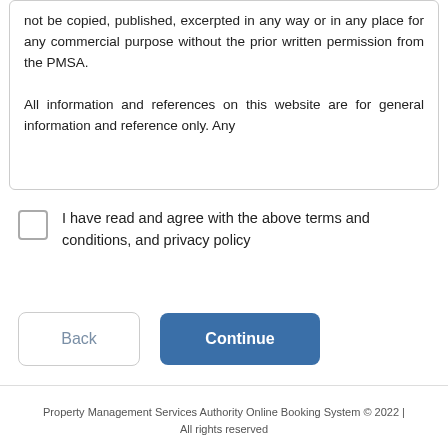not be copied, published, excerpted in any way or in any place for any commercial purpose without the prior written permission from the PMSA.

All information and references on this website are for general information and reference only. Any
I have read and agree with the above terms and conditions, and privacy policy
Back
Continue
Property Management Services Authority Online Booking System © 2022 | All rights reserved